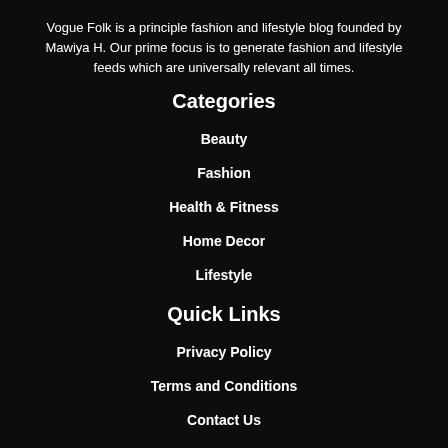Vogue Folk is a principle fashion and lifestyle blog founded by Mawiya H. Our prime focus is to generate fashion and lifestyle feeds which are universally relevant all times.
Categories
Beauty
Fashion
Health & Fitness
Home Decor
Lifestyle
Quick Links
Privacy Policy
Terms and Conditions
Contact Us
© 2022 Vogue Folk